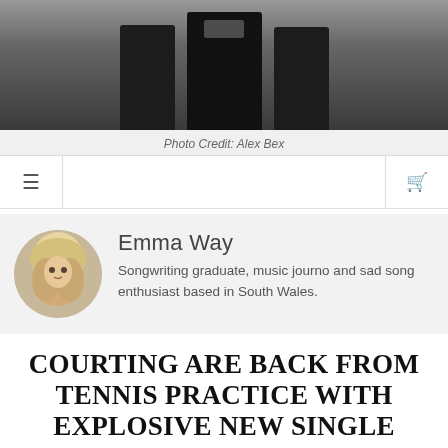[Figure (photo): Partial photo of three people in dark clothing at top of page, cropped at torso/neck level]
Photo Credit: Alex Bex
[Figure (other): Navigation bar with hamburger menu icon on left and shopping cart icon on right]
Emma Way
Songwriting graduate, music journo and sad song enthusiast based in South Wales.
COURTING ARE BACK FROM TENNIS PRACTICE WITH EXPLOSIVE NEW SINGLE 'LOADED'